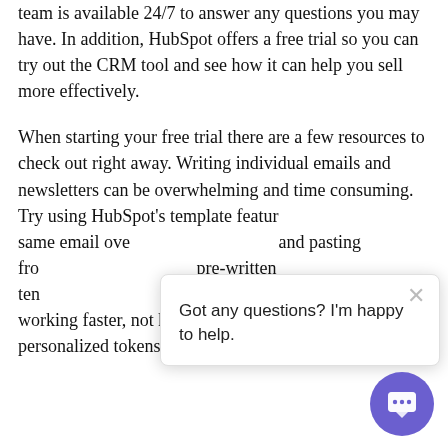team is available 24/7 to answer any questions you may have. In addition, HubSpot offers a free trial so you can try out the CRM tool and see how it can help you sell more effectively.
When starting your free trial there are a few resources to check out right away. Writing individual emails and newsletters can be overwhelming and time consuming. Try using HubSpot's template featur… same email ove… and pasting fro… pre-written ten… their sales templates to start working faster, not harder. You can even use personalized tokens using HubSpot data.
Got any questions? I'm happy to help.